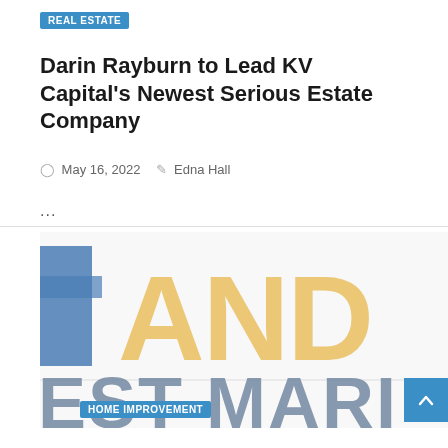REAL ESTATE
Darin Rayburn to Lead KV Capital's Newest Serious Estate Company
May 16, 2022  Edna Hall
...
[Figure (logo): Logo showing large golden/yellow letters 'AND' with a blue rectangular column element on the left, and below in grey large letters 'EST MARI' partially visible]
HOME IMPROVEMENT